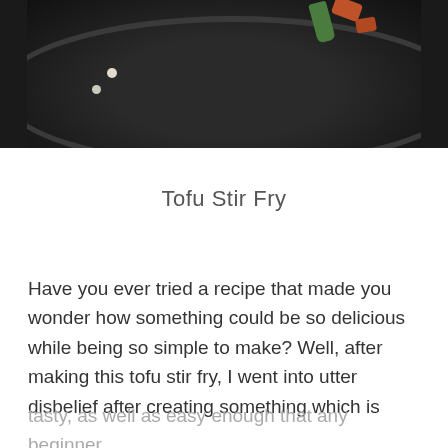[Figure (photo): A dark wok or pan from above showing a tofu stir fry with green peppers and reddish-orange vegetables, dark background. Only the bottom portion of the pan/food is visible.]
Tofu Stir Fry
Have you ever tried a recipe that made you wonder how something could be so delicious while being so simple to make? Well, after making this tofu stir fry, I went into utter disbelief after creating something which is
tasty, as well as easy enough that any beginner